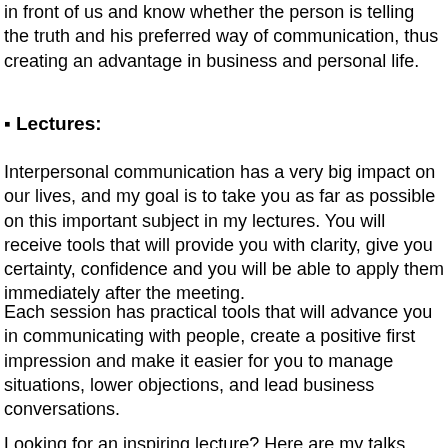in front of us and know whether the person is telling the truth and his preferred way of communication, thus creating an advantage in business and personal life.
Lectures:
Interpersonal communication has a very big impact on our lives, and my goal is to take you as far as possible on this important subject in my lectures. You will receive tools that will provide you with clarity, give you certainty, confidence and you will be able to apply them immediately after the meeting.
Each session has practical tools that will advance you in communicating with people, create a positive first impression and make it easier for you to manage situations, lower objections, and lead business conversations.
Looking for an inspiring lecture? Here are my talks...